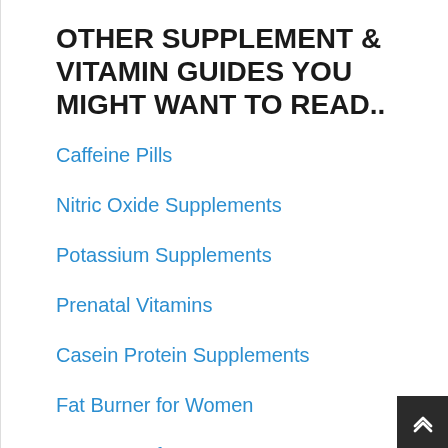OTHER SUPPLEMENT & VITAMIN GUIDES YOU MIGHT WANT TO READ..
Caffeine Pills
Nitric Oxide Supplements
Potassium Supplements
Prenatal Vitamins
Casein Protein Supplements
Fat Burner for Women
Fat Burner for Men
Post Workout Supplements